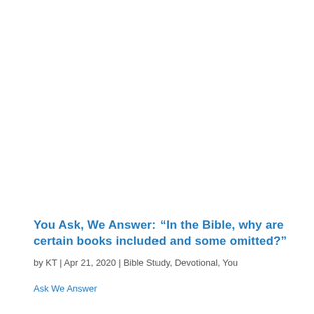You Ask, We Answer: “In the Bible, why are certain books included and some omitted?”
by KT | Apr 21, 2020 | Bible Study, Devotional, You
Ask We Answer